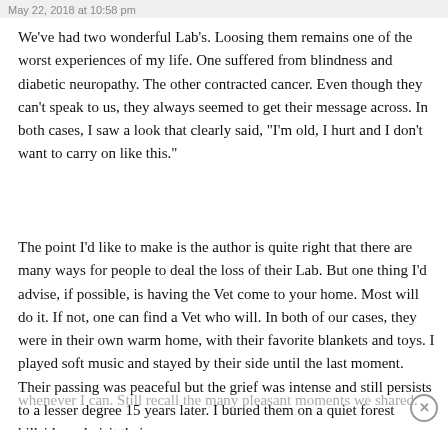May 22, 2018 at 10:58 pm
We've had two wonderful Lab's. Loosing them remains one of the worst experiences of my life. One suffered from blindness and diabetic neuropathy. The other contracted cancer. Even though they can't speak to us, they always seemed to get their message across. In both cases, I saw a look that clearly said, "I'm old, I hurt and I don't want to carry on like this."
The point I'd like to make is the author is quite right that there are many ways for people to deal the loss of their Lab. But one thing I'd advise, if possible, is having the Vet come to your home. Most will do it. If not, one can find a Vet who will. In both of our cases, they were in their own warm home, with their favorite blankets and toys. I played soft music and stayed by their side until the last moment. Their passing was peaceful but the grief was intense and still persists to a lesser degree 15 years later. I buried them on a quiet forest hillside and visit their graves whenever I can. Still recall the many pleasant moments we shared.